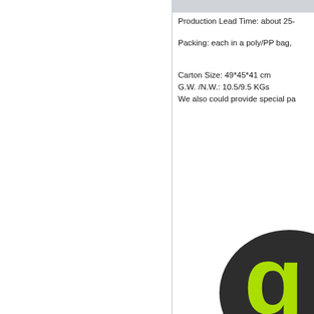Production Lead Time: about 25-
Packing: each in a poly/PP bag,
Carton Size: 49*45*41 cm
G.W. /N.W.: 10.5/9.5 KGs
We also could provide special pa
[Figure (logo): Partial logo with dark rounded shape and bright green letter 'g']